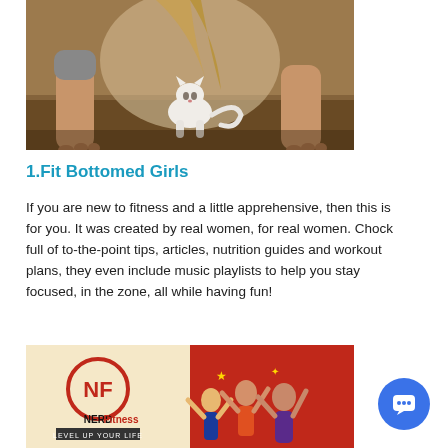[Figure (photo): A person in a plank or downward dog yoga pose with a white kitten walking between their hands and feet on a wooden floor, viewed from a low angle]
1.Fit Bottomed Girls
If you are new to fitness and a little apprehensive, then this is for you. It was created by real women, for real women. Chock full of to-the-point tips, articles, nutrition guides and workout plans, they even include music playlists to help you stay focused, in the zone, all while having fun!
[Figure (photo): NerdFitness logo on a tan/cream background on the left, and a group of costumed people cheering with arms raised on a red background on the right. Logo reads NerdFitness LEVEL UP YOUR LIFE.]